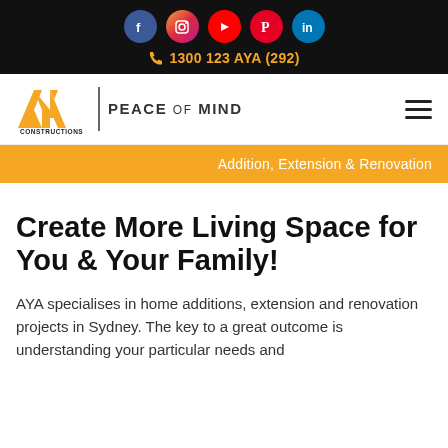Social icons: Facebook, Instagram, YouTube, Pinterest, LinkedIn | Phone: 1300 123 AYA (292)
[Figure (logo): AYA Constructions logo with tagline PEACE OF MIND]
Addition, Extension & Renovation
Create More Living Space for You & Your Family!
AYA specialises in home additions, extension and renovation projects in Sydney. The key to a great outcome is understanding your particular needs and